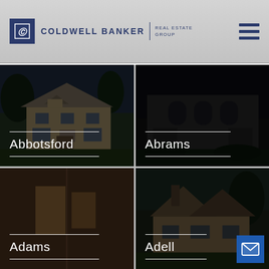Coldwell Banker Real Estate Group — navigation header with logo and hamburger menu
[Figure (photo): Dark overlay photo of a tan brick two-story colonial house at dusk labeled Abbotsford]
[Figure (photo): Dark overlay photo of a large brick manor house labeled Abrams]
[Figure (photo): Dark overlay interior/exterior photo labeled Adams]
[Figure (photo): Dark overlay photo of a house with steep roofline labeled Adell]